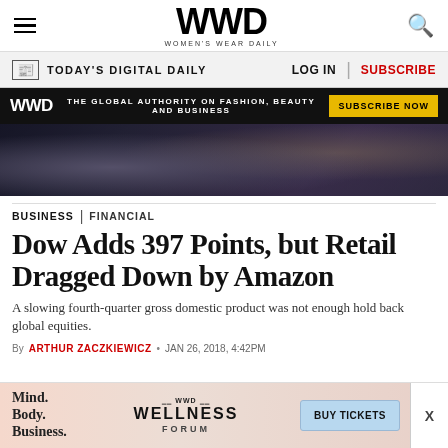WWD — Women's Wear Daily
TODAY'S DIGITAL DAILY | LOG IN | SUBSCRIBE
[Figure (infographic): WWD black promo banner: THE GLOBAL AUTHORITY ON FASHION, BEAUTY AND BUSINESS | SUBSCRIBE NOW button]
[Figure (photo): News photo — dark toned image of people with camera equipment]
BUSINESS | FINANCIAL
Dow Adds 397 Points, but Retail Dragged Down by Amazon
A slowing fourth-quarter gross domestic product was not enough hold back global equities.
By ARTHUR ZACZKIEWICZ
[Figure (infographic): WWD Wellness Forum advertisement — Mind. Body. Business. | BUY TICKETS]